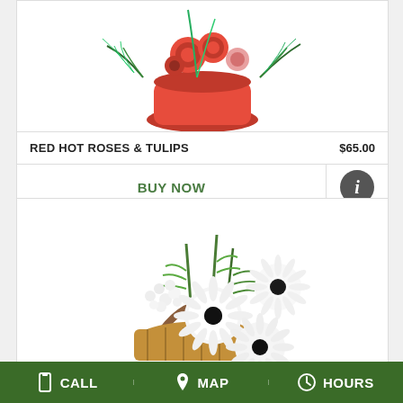[Figure (photo): Floral arrangement of red roses and tulips in a red vase, partially cropped at top]
RED HOT ROSES & TULIPS    $65.00
BUY NOW
[Figure (photo): White flower arrangement with gerbera daisies and green foliage in a wicker basket]
CALL   MAP   HOURS